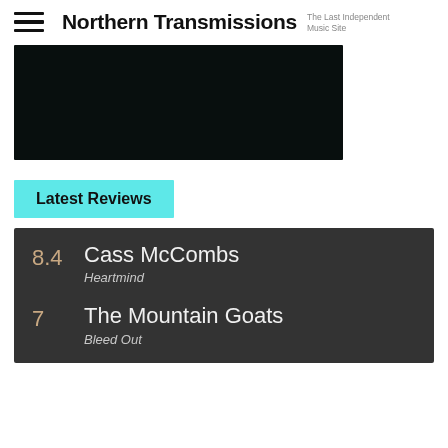Northern Transmissions — The Last Independent Music Site
[Figure (photo): Dark/black hero image banner]
Latest Reviews
8.4 Cass McCombs — Heartmind
7 The Mountain Goats — Bleed Out